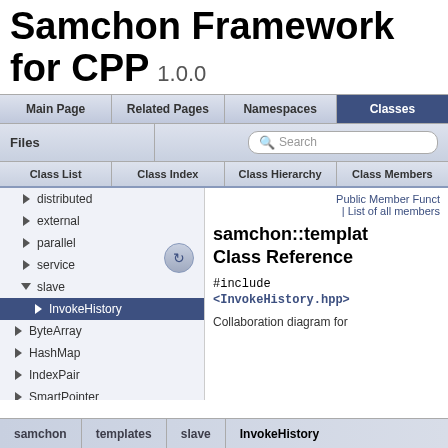Samchon Framework for CPP 1.0.0
Main Page | Related Pages | Namespaces | Classes
Files | Search
Class List | Class Index | Class Hierarchy | Class Members
distributed
external
parallel
service
slave
InvokeHistory
ByteArray
HashMap
IndexPair
SmartPointer
Public Member Funct
| List of all members
samchon::template Class Reference
#include <InvokeHistory.hpp>
Collaboration diagram for
samchon > templates > slave > InvokeHistory